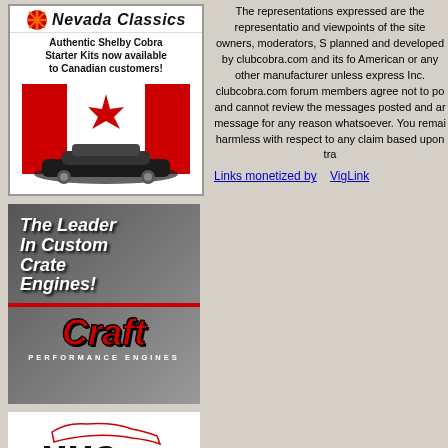[Figure (advertisement): Nevada Classics ad - Authentic Shelby Cobra Starter Kits now available to Canadian customers, showing Canadian flag and Cobra car]
The representations expressed are the representations and viewpoints of the site owners, moderators, S planned and developed by clubcobra.com and its fo American or any other manufacturer unless express Inc. clubcobra.com forum members agree not to po and cannot review the messages posted and ar message for any reason whatsoever. You remai harmless with respect to any claim based upon tra
Links monetized by    VigLink
[Figure (advertisement): Craft Performance Engines ad - The Leader In Custom Crate Engines!]
[Figure (logo): MMG Motorsports logo]